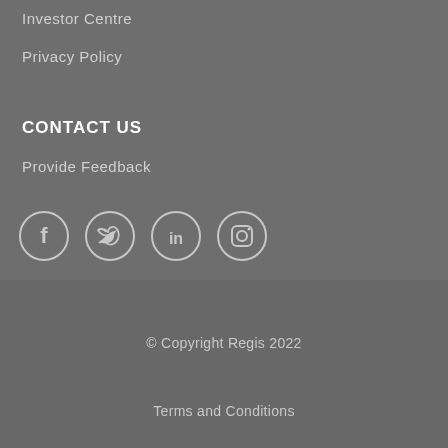Investor Centre
Privacy Policy
CONTACT US
Provide Feedback
[Figure (other): Social media icons in circles: Facebook, Twitter, LinkedIn, Instagram]
© Copyright Regis 2022
Terms and Conditions